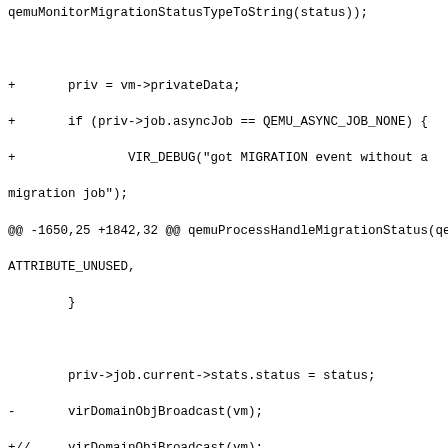Code diff showing changes to qemu migration handling functions including qemuProcessHandleMigrationStatus and qemuProcessHandleMigrationPass